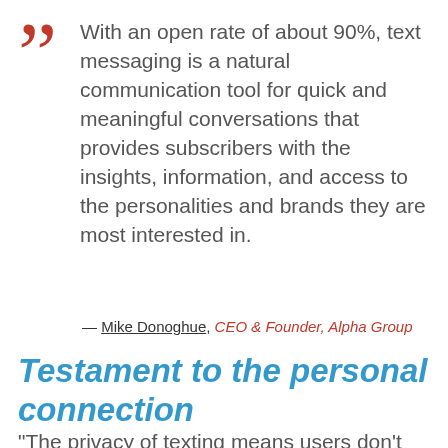With an open rate of about 90%, text messaging is a natural communication tool for quick and meaningful conversations that provides subscribers with the insights, information, and access to the personalities and brands they are most interested in.
— Mike Donoghue, CEO & Founder, Alpha Group
Testament to the personal connection
“The privacy of texting means users don’t